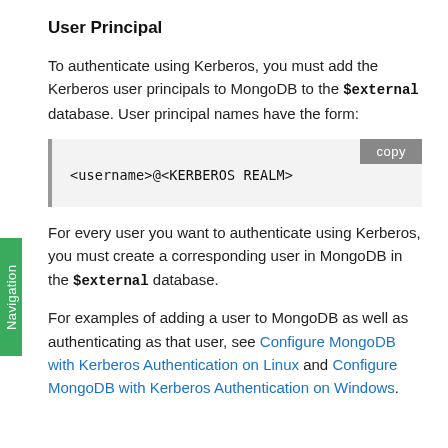User Principal
To authenticate using Kerberos, you must add the Kerberos user principals to MongoDB to the $external database. User principal names have the form:
[Figure (other): Code block showing: <username>@<KERBEROS REALM> with a copy button]
For every user you want to authenticate using Kerberos, you must create a corresponding user in MongoDB in the $external database.
For examples of adding a user to MongoDB as well as authenticating as that user, see Configure MongoDB with Kerberos Authentication on Linux and Configure MongoDB with Kerberos Authentication on Windows.